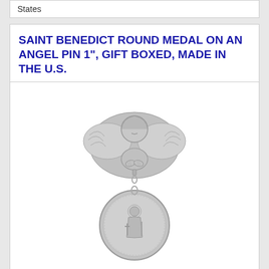States
SAINT BENEDICT ROUND MEDAL ON AN ANGEL PIN 1", GIFT BOXED, MADE IN THE U.S.
[Figure (photo): A silver angel pin with praying cherub figure at top, with wings spread, and a hanging round Saint Benedict medal below it featuring a standing saint figure with cross and staff.]
$39.99
Buy It Now